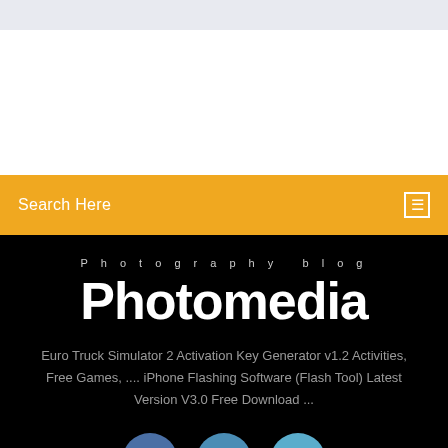[Figure (screenshot): Top grey banner area of a website]
Search Here
Photography blog
Photomedia
Euro Truck Simulator 2 Activation Key Generator v1.2 Activities, Free Games, .... iPhone Flashing Software (Flash Tool) Latest Version V3.0 Free Download ...
[Figure (illustration): Social media icons: Facebook, Twitter, Instagram]